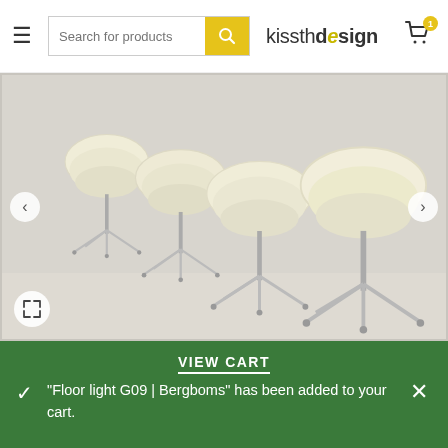kissthdesign — Search for products, cart icon with badge 1
[Figure (photo): Five cream/off-white shell chairs with chrome swivel bases arranged in a row, photographed on a white floor against a light grey background. Navigation arrows on left and right. Expand icon at bottom left.]
VIEW CART
"Floor light G09 | Bergboms" has been added to your cart.